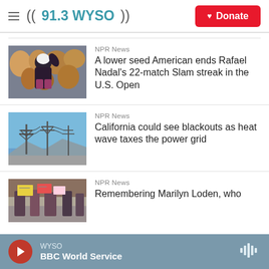((91.3 WYSO)) Donate
NPR News
A lower seed American ends Rafael Nadal's 22-match Slam streak in the U.S. Open
[Figure (photo): Tennis player celebrating during a match]
NPR News
California could see blackouts as heat wave taxes the power grid
[Figure (photo): High-voltage electricity transmission towers against a blue sky]
NPR News
Remembering Marilyn Loden, who
[Figure (photo): People holding protest signs]
WYSO BBC World Service